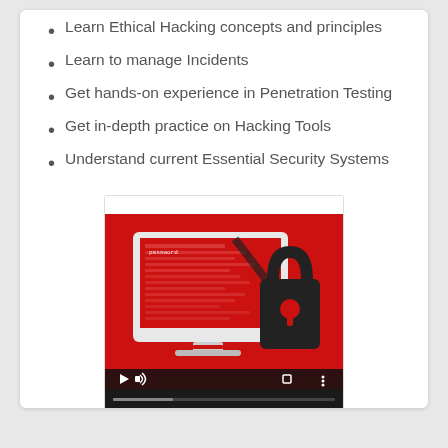Learn Ethical Hacking concepts and principles
Learn to manage Incidents
Get hands-on experience in Penetration Testing
Get in-depth practice on Hacking Tools
Understand current Essential Security Systems
[Figure (screenshot): Video thumbnail showing a computer monitor with red hacking/password screen and a padlock icon, with video player controls at the bottom]